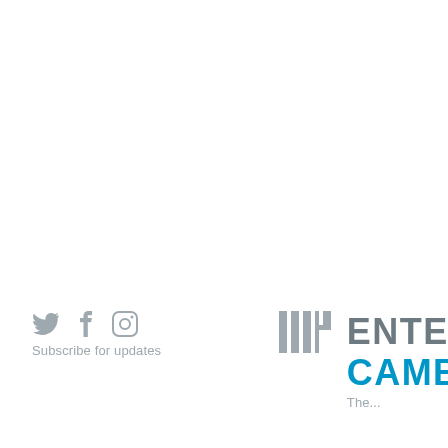[Figure (logo): Social media icons: Twitter, Facebook, Instagram in gray]
Subscribe for updates
[Figure (logo): MIT logo (stylized columns) followed by partial text ENTER... CAMBR... logo for MIT Enterprise Cambridge]
The...